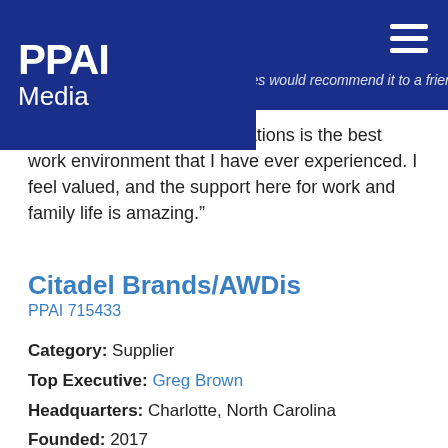PPAI Media
Working for Business Innovations is the best work environment that I have ever experienced. I feel valued, and the support here for work and family life is amazing.”
Citadel Brands/AWDis
PPAI 715433
Category: Supplier
Top Executive: Greg Brown
Headquarters: Charlotte, North Carolina
Founded: 2017
Employees: 10
Web address: citadelbrands.com
Benefits/perks: Flexible schedule, job sharing, telecommuting, insurance, bonus, paid time off